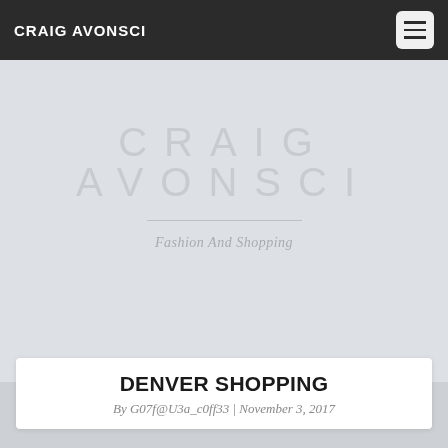CRAIG AVONSCI
CRAIG AVONSCI
Fashion And Shopping
DENVER SHOPPING
By G07f@U3a_c0ff33 | November 3, 2017